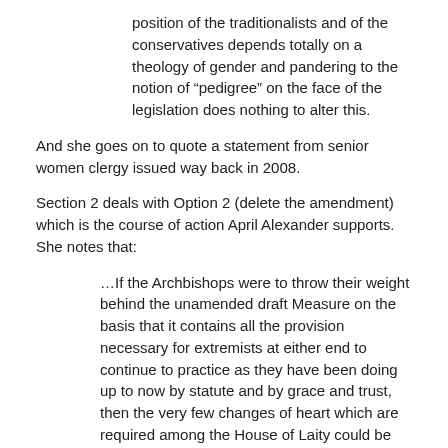position of the traditionalists and of the conservatives depends totally on a theology of gender and pandering to the notion of “pedigree” on the face of the legislation does nothing to alter this.
And she goes on to quote a statement from senior women clergy issued way back in 2008.
Section 2 deals with Option 2 (delete the amendment) which is the course of action April Alexander supports. She notes that:
…If the Archbishops were to throw their weight behind the unamended draft Measure on the basis that it contains all the provision necessary for extremists at either end to continue to practice as they have been doing up to now by statute and by grace and trust, then the very few changes of heart which are required among the House of Laity could be achieved.
… If Simon Killwick’s estimate that the traditionalists and conservatives form 35% of the House of Laity, then the numbers who need to change their vote in order to achieve 66.6% in favour in that House would only be four. Changing